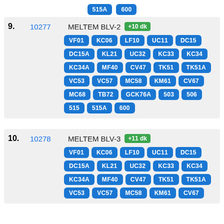515A  600
9. 10277 MELTEM BLV-2 +10 dk — VF01 KC06 LF10 UC11 DC15 DC15A KL21 UC32 KC33 KC34 KC34A MF40 CV47 TK51 TK51A VC53 VC57 MC58 KM61 CV67 MC68 TB72 GCK76A 503 506 515 515A 600
10. 10278 MELTEM BLV-3 +11 dk — VF01 KC06 LF10 UC11 DC15 DC15A KL21 UC32 KC33 KC34 KC34A MF40 CV47 TK51 TK51A VC53 VC57 MC58 KM61 CV67